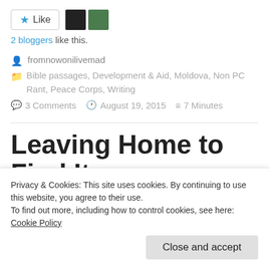[Figure (other): Like button with star icon and two blogger avatars]
2 bloggers like this.
fromnowonilivemad
Bible passages, Development & Aid, Moldova, Non PC Rant, Peace Corps, Writing
3 Comments  August 19, 2015  7 Minutes
Leaving Home to Find It
Privacy & Cookies: This site uses cookies. By continuing to use this website, you agree to their use.
To find out more, including how to control cookies, see here: Cookie Policy
Close and accept